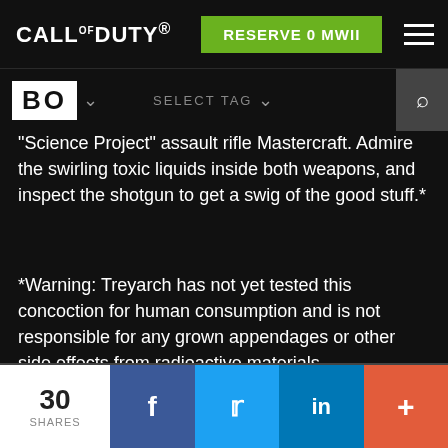CALL OF DUTY® | RESERVE 0 MWII
'Science Project' assault rifle Mastercraft. Admire the swirling toxic liquids inside both weapons, and inspect the shotgun to get a swig of the good stuff.*
*Warning: Treyarch has not yet tested this concoction for human consumption and is not responsible for any grown appendages or other side effects from radioactive materials.
CALL OF DUTY: MOBILE CONTENT
30 SHARES | Facebook | Twitter | LinkedIn | +